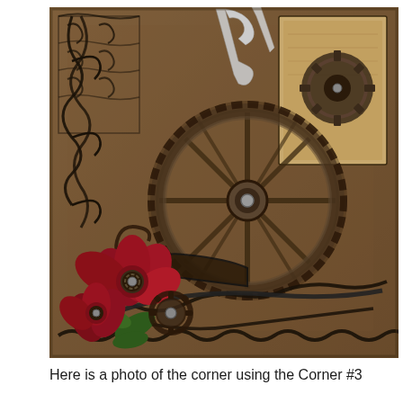[Figure (photo): Close-up photo of a steampunk/vintage craft project corner featuring dark metal gear embellishments, a large wheel/gear in the center, red poinsettia flowers with green leaves in the lower left, a metal sleigh border at the bottom, decorative scrollwork, silver tool-like pieces at the top, and a vintage map or image panel in the upper right corner, all on a brown aged background.]
Here is a photo of the corner using the Corner #3